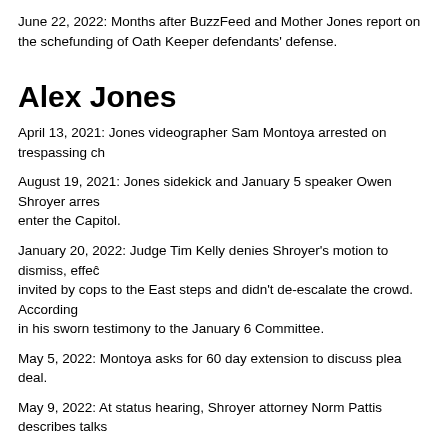June 22, 2022: Months after BuzzFeed and Mother Jones report on the scheme for funding of Oath Keeper defendants' defense.
Alex Jones
April 13, 2021: Jones videographer Sam Montoya arrested on trespassing ch…
August 19, 2021: Jones sidekick and January 5 speaker Owen Shroyer arres… enter the Capitol.
January 20, 2022: Judge Tim Kelly denies Shroyer's motion to dismiss, effec… invited by cops to the East steps and didn't de-escalate the crowd. According… in his sworn testimony to the January 6 Committee.
May 5, 2022: Montoya asks for 60 day extension to discuss plea deal.
May 9, 2022: At status hearing, Shroyer attorney Norm Pattis describes talks…
June 14, 2022: Long-time Jones attorney Norm Pattis, who is representing O…
June 23, 2022: DOJ provides Shroyer unscoped contents of his phone, to pr…
Ali Alexander